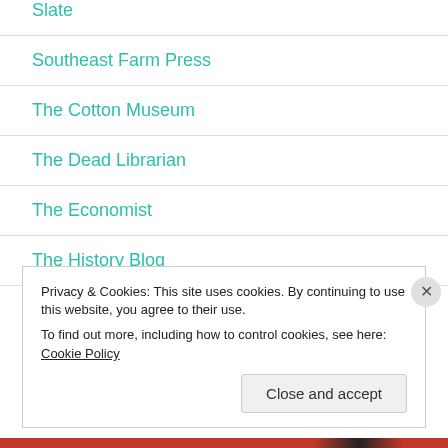Slate
Southeast Farm Press
The Cotton Museum
The Dead Librarian
The Economist
The History Blog
Privacy & Cookies: This site uses cookies. By continuing to use this website, you agree to their use.
To find out more, including how to control cookies, see here: Cookie Policy
Close and accept